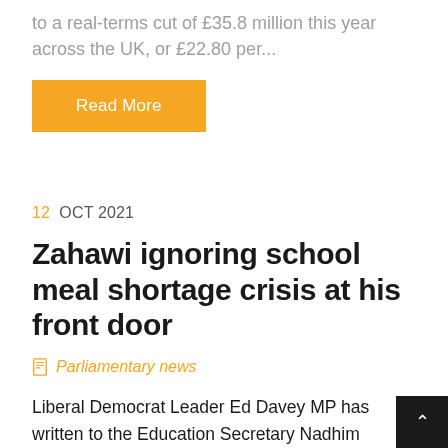to a real-terms cut of £35.8 million this year across the UK, or £22.80 per...
Read More
12 OCT 2021
Zahawi ignoring school meal shortage crisis at his front door
Parliamentary news
Liberal Democrat Leader Ed Davey MP has written to the Education Secretary Nadhim Zahawi accusing him of ignoring the school meal shortage crisis after it has been revealed schools are being told to stock up on